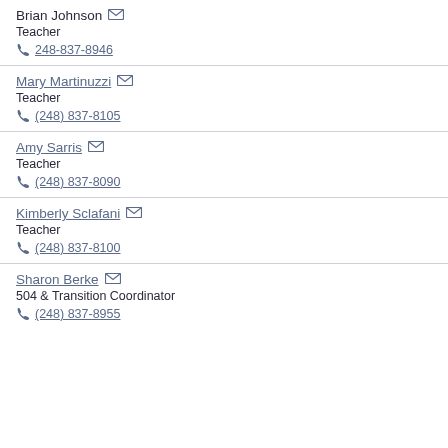Brian Johnson | Teacher | 248-837-8946
Mary Martinuzzi | Teacher | (248) 837-8105
Amy Sarris | Teacher | (248) 837-8090
Kimberly Sclafani | Teacher | (248) 837-8100
Sharon Berke | 504 & Transition Coordinator | (248) 837-8955